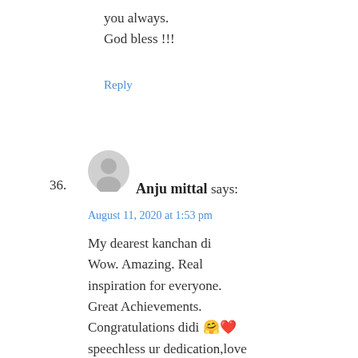you always.
God bless !!!
Reply
36.
[Figure (illustration): Generic user avatar circle with silhouette icon]
Anju mittal says:
August 11, 2020 at 1:53 pm
My dearest kanchan di Wow. Amazing. Real inspiration for everyone. Great Achievements. Congratulations didi 🤗❤️ speechless ur dedication,love ,ur sooo sweet di.. Lots of love ❤️ 😘😊